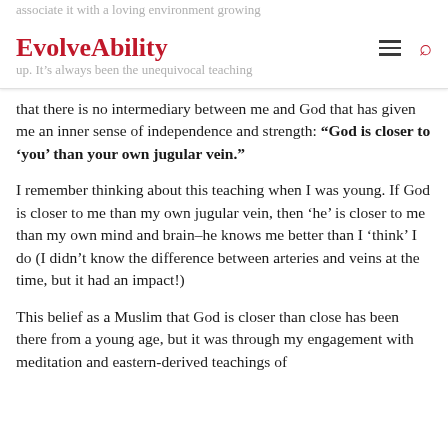EvolveAbility
that there is no intermediary between me and God that has given me an inner sense of independence and strength: “God is closer to ‘you’ than your own jugular vein.”
I remember thinking about this teaching when I was young. If God is closer to me than my own jugular vein, then ‘he’ is closer to me than my own mind and brain–he knows me better than I ‘think’ I do (I didn’t know the difference between arteries and veins at the time, but it had an impact!)
This belief as a Muslim that God is closer than close has been there from a young age, but it was through my engagement with meditation and eastern-derived teachings of